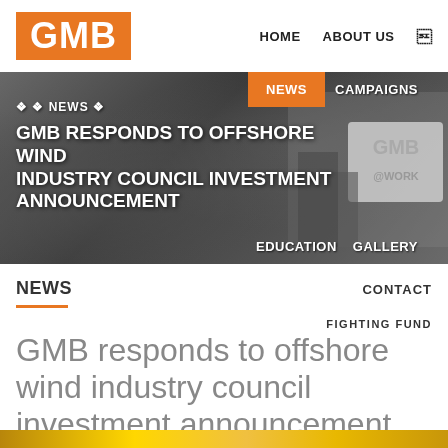GMB | HOME | ABOUT US
[Figure (photo): Black and white hero banner showing protest crowd with GMB signs, overlaid with navigation menu items NEWS (highlighted orange), CAMPAIGNS, EDUCATION, GALLERY]
GMB RESPONDS TO OFFSHORE WIND INDUSTRY COUNCIL INVESTMENT ANNOUNCEMENT
NEWS
CONTACT
FIGHTING FUND
GMB responds to offshore wind industry council investment announcement